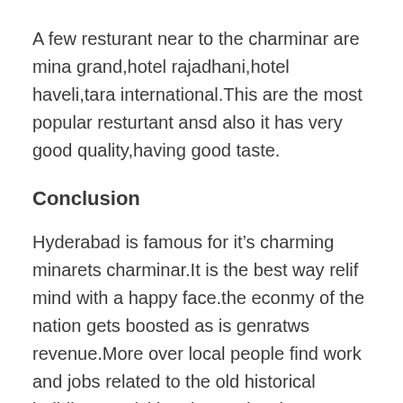A few resturant near to the charminar are mina grand,hotel rajadhani,hotel haveli,tara international.This are the most popular resturtant ansd also it has very good quality,having good taste.
Conclusion
Hyderabad is famous for it’s charming minarets charminar.It is the best way relif mind with a happy face.the econmy of the nation gets boosted as is genratws revenue.More over local people find work and jobs related to the old historical building.By visiting the tourist places we can know the history of the tourist place.places to hangout near me.
please visit this